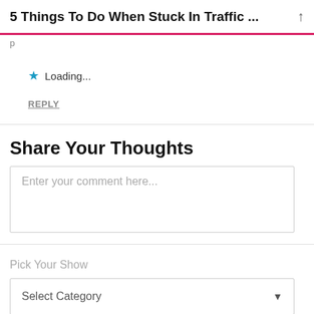5 Things To Do When Stuck In Traffic ...
Loading...
REPLY
Share Your Thoughts
Enter your comment here...
Pick Your Show
Select Category